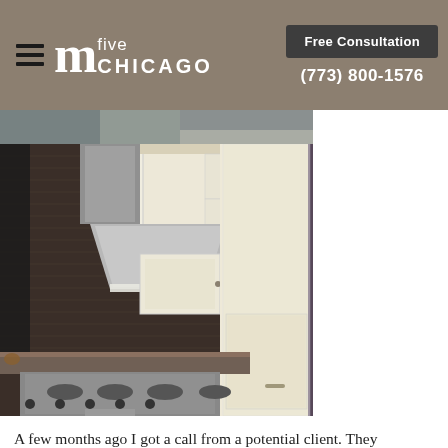m five CHICAGO | Free Consultation | (773) 800-1576
[Figure (photo): Kitchen renovation photo showing white cabinets with glass-front upper shelves, stainless steel range hood over a professional gas stove, dark mosaic tile backsplash, and granite countertop]
A few months ago I got a call from a potential client. They